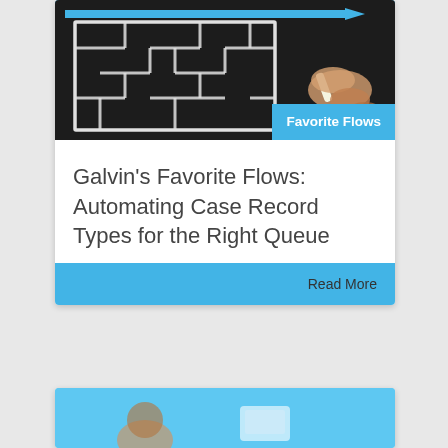[Figure (photo): Maze drawn on chalkboard with blue arrow pointing right, hand holding chalk visible at right side]
Favorite Flows
Galvin’s Favorite Flows: Automating Case Record Types for the Right Queue
Read More
[Figure (photo): Partial view of second card with person and light blue background]